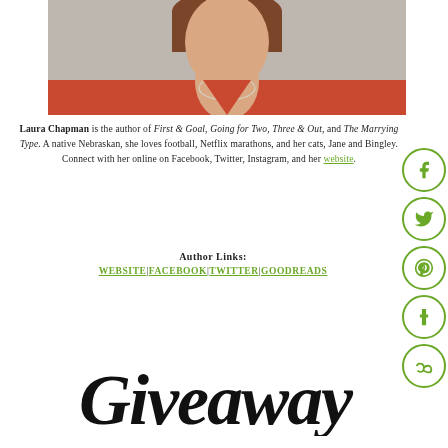[Figure (photo): Portrait photo of a woman in a red sweater with a pearl necklace, cropped from shoulders up, brick wall background]
Laura Chapman is the author of First & Goal, Going for Two, Three & Out, and The Marrying Type. A native Nebraskan, she loves football, Netflix marathons, and her cats, Jane and Bingley. Connect with her online on Facebook, Twitter, Instagram, and her website.
Author Links:
WEBSITE | FACEBOOK | TWITTER | GOODREADS
[Figure (illustration): Giveaway written in decorative script font]
[Figure (illustration): Social media icons: Facebook, Twitter, Pinterest, Tumblr, StumbleUpon — green circle outlines]